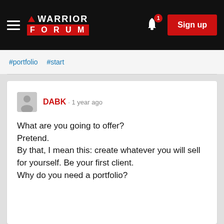[Figure (screenshot): Warrior Forum navigation bar with hamburger menu, logo, bell notification icon with badge showing 1, and red Sign up button]
#portfolio  #start
DABK · 1 year ago

What are you going to offer?

Pretend.

By that, I mean this: create whatever you will sell for yourself. Be your first client.

Why do you need a portfolio?